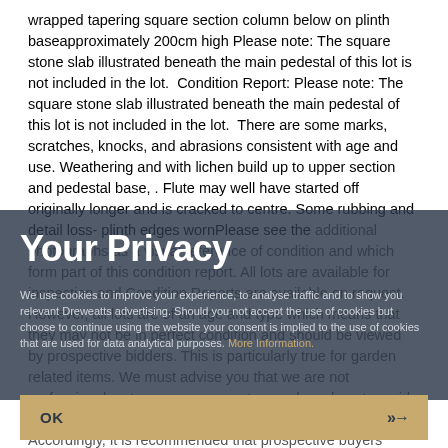wrapped tapering square section column below on plinth baseapproximately 200cm high Please note: The square stone slab illustrated beneath the main pedestal of this lot is not included in the lot. Condition Report: Please note: The square stone slab illustrated beneath the main pedestal of this lot is not included in the lot. There are some marks, scratches, knocks, and abrasions consistent with age and use. Weathering and with lichen build up to upper section and pedestal base, . Flute may well have started off originally longer and is cracked to centre. Some rubbing and detail loss- plinth edges wornPlease see the additional photographs as a visual reference of condition and which form part of this condition report. All lots are available for inspection and Condition Reports are available on request. However, all lots are of an age and type which means that they may not be in perfect condition and should be viewed by prospective bidders. This is particularly true for garden related items. We must advise you that we are not professional restorers or conservators and we do not provide any guarantee or warranty as to a lot's condition. Accordingly, it is recommended that prospective buyers inspect lots or have their
Your Privacy
We use cookies to improve your experience, to analyse traffic and to show you relevant Dreweatts advertising. Should you not accept the use of cookies but choose to continue using the website your consent is implied to the use of cookies that are used for data analytical purposes. More Information.
OK